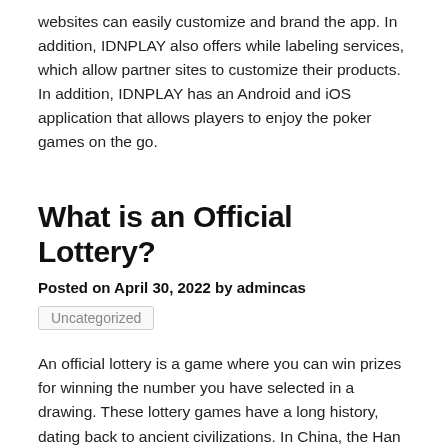websites can easily customize and brand the app. In addition, IDNPLAY also offers while labeling services, which allow partner sites to customize their products. In addition, IDNPLAY has an Android and iOS application that allows players to enjoy the poker games on the go.
What is an Official Lottery?
Posted on April 30, 2022 by admincas
Uncategorized
An official lottery is a game where you can win prizes for winning the number you have selected in a drawing. These lottery games have a long history, dating back to ancient civilizations. In China, the Han dynasty used the lottery money to construct the Great Wall. Similarly, the Elizabethan Age saw